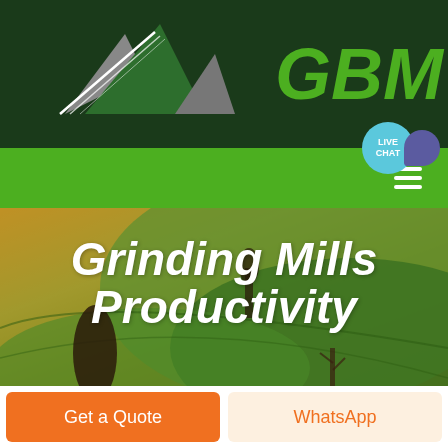[Figure (logo): GBM logo with mountain/triangle graphic and green GBM text on dark green background header]
[Figure (screenshot): Green navigation bar with hamburger menu icon and Live Chat bubble on right side]
[Figure (photo): Aerial photo of green agricultural fields with trees, warm sunset light on the left portion]
Grinding Mills Productivity
Get a Quote
WhatsApp